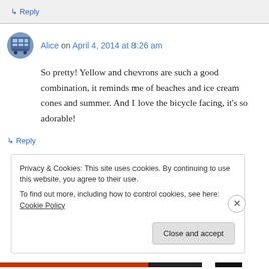↳ Reply
Alice on April 4, 2014 at 8:26 am
So pretty! Yellow and chevrons are such a good combination, it reminds me of beaches and ice cream cones and summer. And I love the bicycle facing, it's so adorable!
↳ Reply
Privacy & Cookies: This site uses cookies. By continuing to use this website, you agree to their use. To find out more, including how to control cookies, see here: Cookie Policy
Close and accept